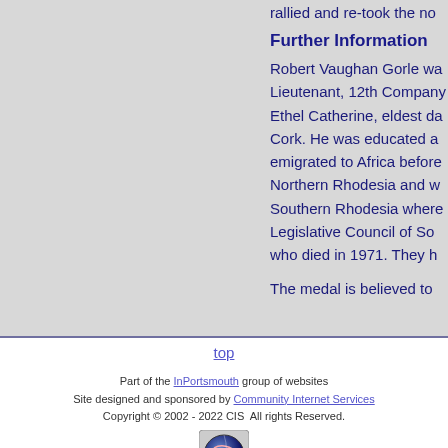rallied and re-took the no
Further Information
Robert Vaughan Gorle wa Lieutenant, 12th Company Ethel Catherine, eldest da Cork. He was educated a emigrated to Africa before Northern Rhodesia and w Southern Rhodesia where Legislative Council of So who died in 1971. They h
The medal is believed to
top
Part of the InPortsmouth group of websites Site designed and sponsored by Community Internet Services Copyright © 2002 - 2022 CIS All rights Reserved.